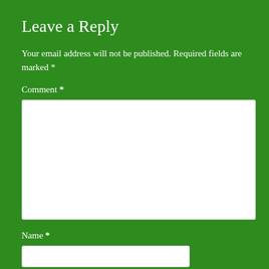Leave a Reply
Your email address will not be published. Required fields are marked *
Comment *
[Figure (other): Large white textarea input box for comment submission]
Name *
[Figure (other): White text input box for name]
Email *
[Figure (other): White text input box for email (partially visible at bottom)]